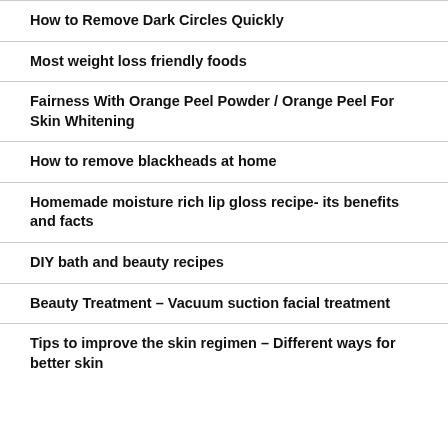How to Remove Dark Circles Quickly
Most weight loss friendly foods
Fairness With Orange Peel Powder / Orange Peel For Skin Whitening
How to remove blackheads at home
Homemade moisture rich lip gloss recipe- its benefits and facts
DIY bath and beauty recipes
Beauty Treatment – Vacuum suction facial treatment
Tips to improve the skin regimen – Different ways for better skin